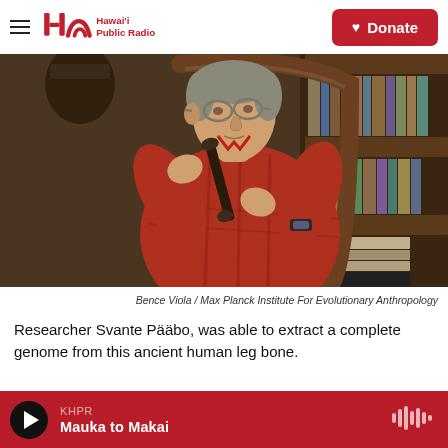Hawai'i Public Radio | Donate
[Figure (photo): Researcher Svante Pääbo seated in a wooden chair, holding an ancient human leg bone, wearing a red plaid shirt and watch, with bookshelves and artifacts in the background.]
Bence Viola / Max Planck Institute For Evolutionary Anthropology
Researcher Svante Pääbo, was able to extract a complete genome from this ancient human leg bone.
KHPR Mauka to Makai